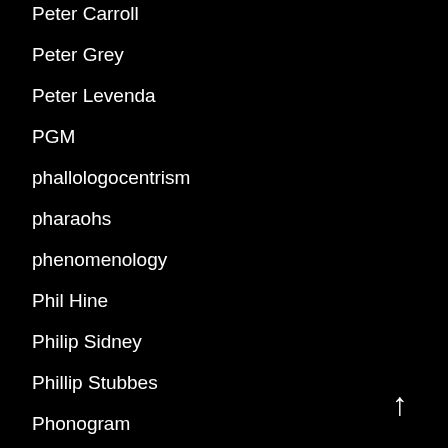Peter Carroll
Peter Grey
Peter Levenda
PGM
phallologocentrism
pharaohs
phenomenology
Phil Hine
Philip Sidney
Phillip Stubbes
Phonogram
phylacteries